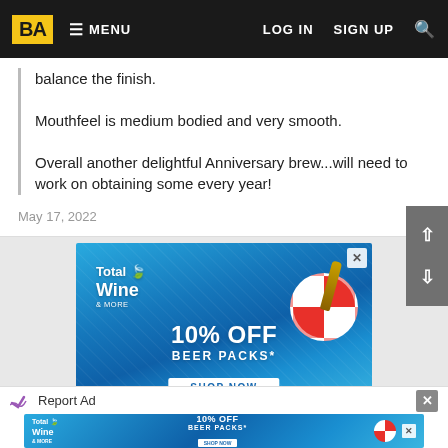BA  ≡ MENU   LOG IN   SIGN UP   🔍
balance the finish.
Mouthfeel is medium bodied and very smooth.
Overall another delightful Anniversary brew...will need to work on obtaining some every year!
May 17, 2022
[Figure (photo): Total Wine & More advertisement banner: '10% OFF BEER PACKS* SHOP NOW' on a blue water/pool background with life ring and beer bottle imagery]
[Figure (photo): Smaller Total Wine & More advertisement banner: '10% OFF BEER PACKS*' on blue background - bottom of page]